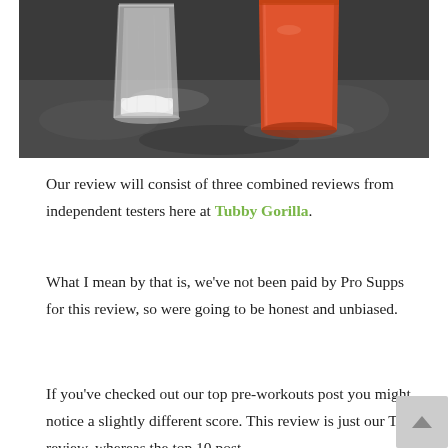[Figure (photo): Two glasses on a granite countertop — one clear glass with white powder, one glass with orange/red liquid (likely a pre-workout supplement drink)]
Our review will consist of three combined reviews from independent testers here at Tubby Gorilla.
What I mean by that is, we've not been paid by Pro Supps for this review, so were going to be honest and unbiased.
If you've checked out our top pre-workouts post you might notice a slightly different score. This review is just our TG review, whereas the top 10 post